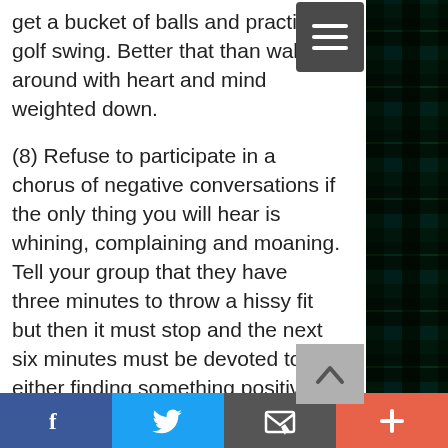get a bucket of balls and practice golf swing. Better that than walking around with heart and mind weighted down.
(8) Refuse to participate in a chorus of negative conversations if the only thing you will hear is whining, complaining and moaning. Tell your group that they have three minutes to throw a hissy fit but then it must stop and the next six minutes must be devoted to either finding something positive about the situation or something that they can do.
Lastly, practice saying this mantra, “This too shall pass.” It always has and it